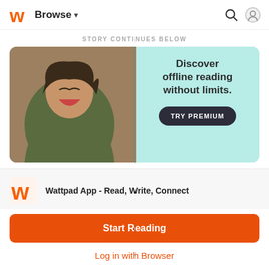Browse
STORY CONTINUES BELOW
[Figure (illustration): Wattpad Premium ad banner: A laughing woman in a green hoodie holding a smartphone on the left, with a mint/teal background on the right. Text reads 'Discover offline reading without limits.' with a dark 'TRY PREMIUM' button.]
Wattpad App - Read, Write, Connect
Start Reading
Log in with Browser